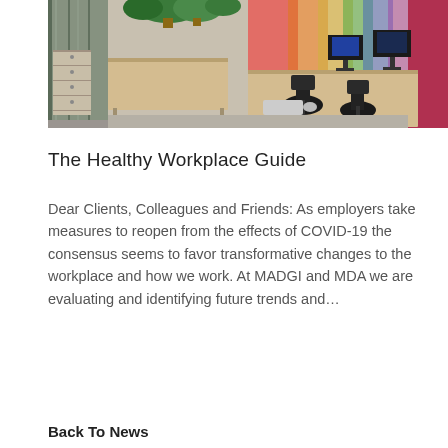[Figure (photo): Interior of a modern open-plan office with workstations, wooden desks, computers, office chairs, plants and colorful wall mural in background]
The Healthy Workplace Guide
Dear Clients, Colleagues and Friends: As employers take measures to reopen from the effects of COVID-19 the consensus seems to favor transformative changes to the workplace and how we work. At MADGI and MDA we are evaluating and identifying future trends and...
Back To News